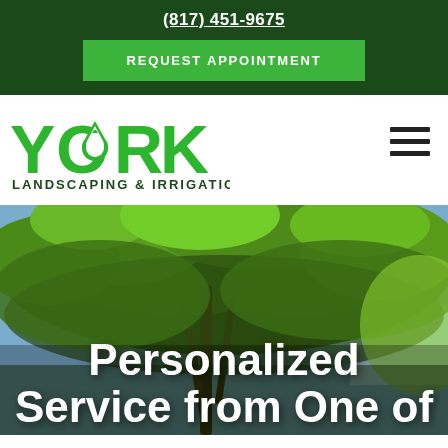(817) 451-9675
REQUEST APPOINTMENT
[Figure (logo): York Landscaping & Irrigation green logo with leaf/water drop icon inside the letter O]
[Figure (photo): Overhead photo of lush green tree canopy with blue sky visible through branches]
Personalized Service from One of